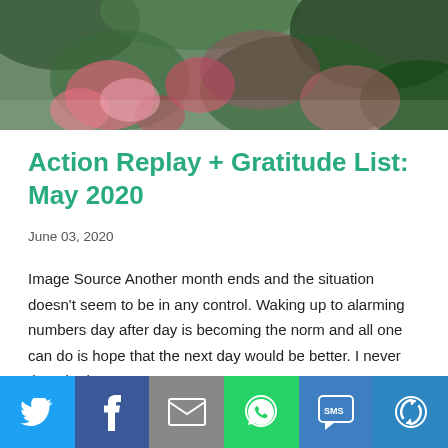[Figure (photo): Blurred floral background image — pink and red flowers with green leaves in soft focus]
Action Replay + Gratitude List: May 2020
June 03, 2020
Image Source Another month ends and the situation doesn't seem to be in any control. Waking up to alarming numbers day after day is becoming the norm and all one can do is hope that the next day would be better. I never thought that our …
14 COMMENTS
READ MORE
[Figure (infographic): Social share bar with six buttons: Twitter (blue bird icon), Facebook (blue f icon), Email (gray envelope icon), WhatsApp (green phone icon), SMS (blue speech bubble with SMS), and More (blue circular arrow icon)]